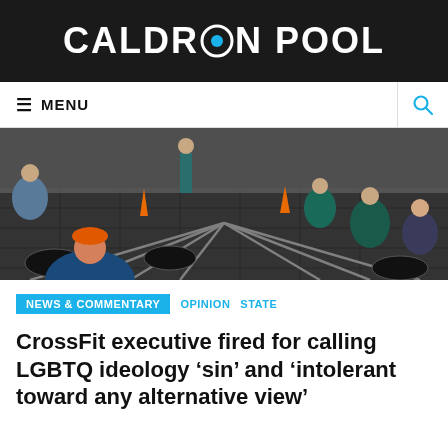CALDRON POOL
≡ MENU
[Figure (photo): CrossFit gym scene with multiple athletes using rowing machines on a black rubber floor. Orange traffic cones visible in the background. A person in an orange baseball cap is prominent in the foreground.]
NEWS & COMMENTARY   OPINION   STATE
CrossFit executive fired for calling LGBTQ ideology 'sin' and 'intolerant toward any alternative view'